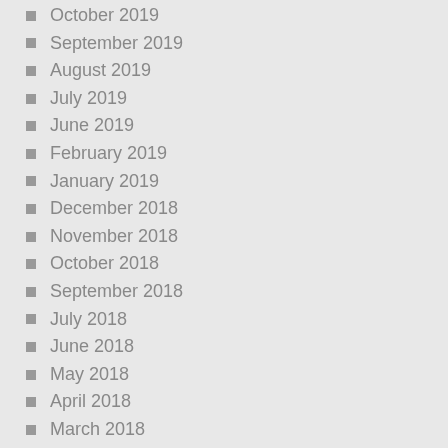October 2019
September 2019
August 2019
July 2019
June 2019
February 2019
January 2019
December 2018
November 2018
October 2018
September 2018
July 2018
June 2018
May 2018
April 2018
March 2018
February 2018